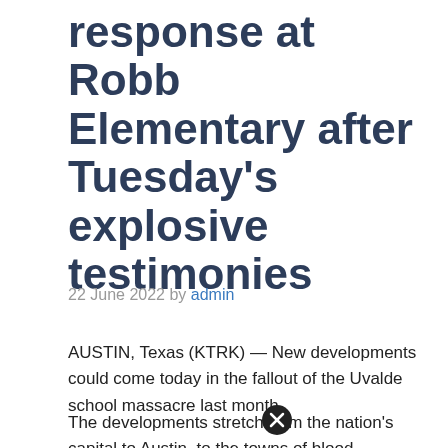response at Robb Elementary after Tuesday's explosive testimonies
22 June 2022 by admin
AUSTIN, Texas (KTRK) — New developments could come today in the fallout of the Uvalde school massacre last month.
The developments stretch from the nation's capital to Austin, to the towns of Uvalde...